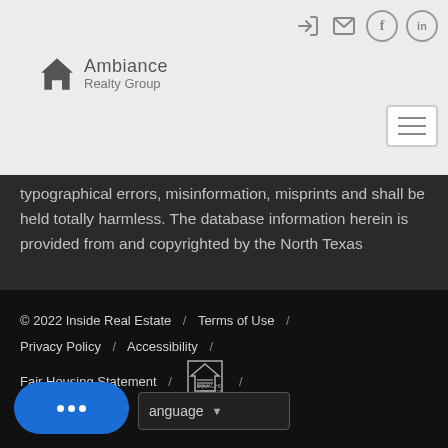JPAR Real Estate / Ambiance Realty Group
typographical errors, misinformation, misprints and shall be held totally harmless. The database information herein is provided from and copyrighted by the North Texas
Show More...
© 2022 Inside Real Estate / Terms of Use / Privacy Policy / Accessibility / Fair Housing Statement / [Equal Housing Logo] / Language selector